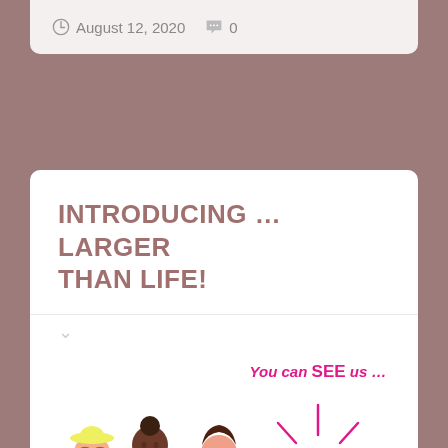August 12, 2020  0
INTRODUCING … LARGER THAN LIFE!
[Figure (illustration): Illustration of three plus-size women figures: one in yellow bikini and sunglasses with a pool float, one in orange top and blue jeans holding food/drink, one in red dress. On the right, a starburst/sun graphic with lines radiating from a circle, text 'You can SEE us …' at top and 'LARGER THAN' at bottom in pink, suggesting the title of the blog feature.]